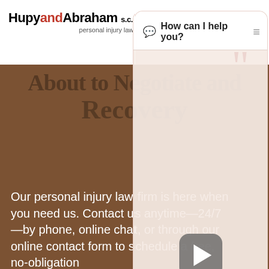[Figure (screenshot): Hupy and Abraham personal injury law firm website screenshot with chat overlay showing 'How can I help you?' with options: Car Accident, Accidents (All kinds), Police Abuse]
Hupy and Abraham s.c. personal injury lawyers
About to Negotiate and Recovery
Our personal injury law firm is here when you need us. Contact us anytime—24/7—by phone, online chat, or through our online contact form to schedule a free, no-obligation consultation today.
💬 How can I help you?
Car Accident
Accidents (All kinds)
Police Abuse